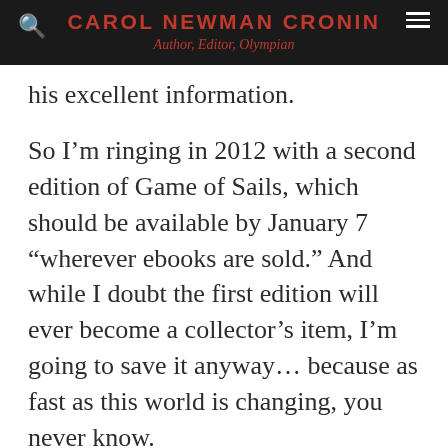CAROL NEWMAN CRONIN | Author, Editor, Olympian
his excellent information.
So I'm ringing in 2012 with a second edition of Game of Sails, which should be available by January 7 “wherever ebooks are sold.” And while I doubt the first edition will ever become a collector’s item, I’m going to save it anyway… because as fast as this world is changing, you never know.
Technology, Writing  Carol Newman Cronin, ebooks, formatting, Game of